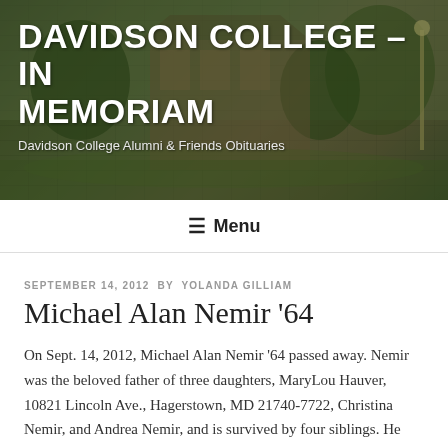[Figure (photo): Header banner with campus photo background showing brick buildings and trees, with white bold text overlay reading DAVIDSON COLLEGE – IN MEMORIAM and subtitle Davidson College Alumni & Friends Obituaries]
≡ Menu
SEPTEMBER 14, 2012 BY YOLANDA GILLIAM
Michael Alan Nemir '64
On Sept. 14, 2012, Michael Alan Nemir '64 passed away. Nemir was the beloved father of three daughters, MaryLou Hauver, 10821 Lincoln Ave., Hagerstown, MD 21740-7722, Christina Nemir, and Andrea Nemir, and is survived by four siblings. He also is survived by his long-term companion, Diane Estep, and her grandson, Michael. Nemir practiced pediatrics in Hagerstown with Dr. Ron